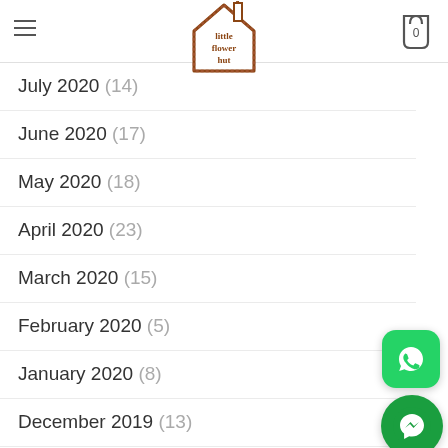little flower hut — navigation header with logo and cart
September 2020 (9)
August 2020 (11)
July 2020 (14)
June 2020 (17)
May 2020 (18)
April 2020 (23)
March 2020 (15)
February 2020 (5)
January 2020 (8)
December 2019 (13)
November 2019 (18)
October 2019 (21)